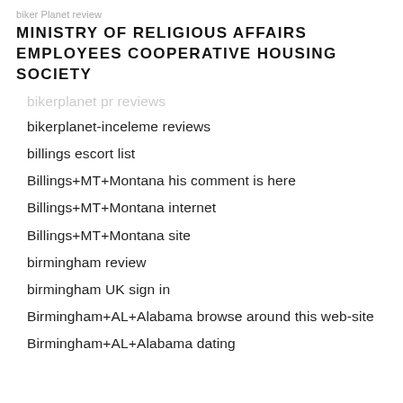biker Planet review
MINISTRY OF RELIGIOUS AFFAIRS EMPLOYEES COOPERATIVE HOUSING SOCIETY
bikerplanet pr reviews
bikerplanet-inceleme reviews
billings escort list
Billings+MT+Montana his comment is here
Billings+MT+Montana internet
Billings+MT+Montana site
birmingham review
birmingham UK sign in
Birmingham+AL+Alabama browse around this web-site
Birmingham+AL+Alabama dating